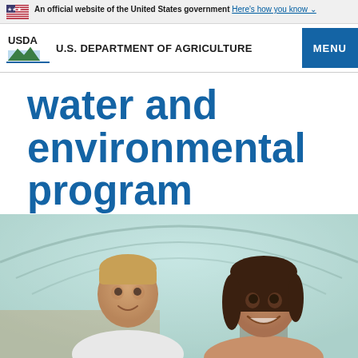An official website of the United States government Here's how you know
U.S. DEPARTMENT OF AGRICULTURE
water and environmental program
[Figure (photo): Two people (a man and a woman) smiling inside a greenhouse/hoop house with white plastic covering and structural arches visible in the background]